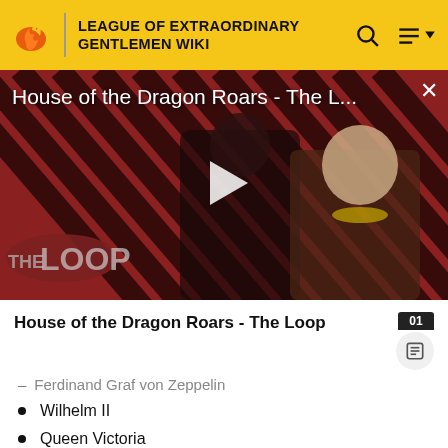LEAGUE OF EXTRAORDINARY GENTLEMEN WIKI
[Figure (screenshot): Video thumbnail for 'House of the Dragon Roars - The L...' with a play button overlay, featuring characters from House of the Dragon on a red and black diagonal striped background. 'THE LOOP' logo visible in bottom left.]
House of the Dragon Roars - The Loop
Ferdinand Graf von Zeppelin
Wilhelm II
Queen Victoria
Cecil Rhodes